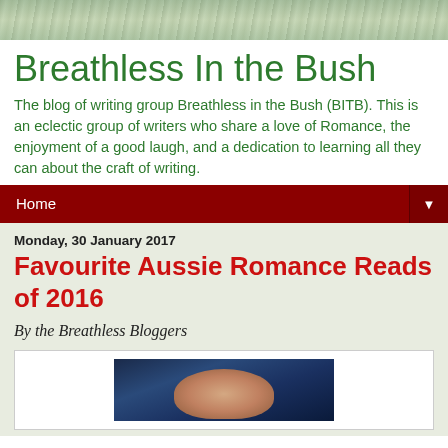[Figure (photo): Green foliage/nature header banner image]
Breathless In the Bush
The blog of writing group Breathless in the Bush (BITB). This is an eclectic group of writers who share a love of Romance, the enjoyment of a good laugh, and a dedication to learning all they can about the craft of writing.
Home ▼
Monday, 30 January 2017
Favourite Aussie Romance Reads of 2016
By the Breathless Bloggers
[Figure (photo): Partial photo of a person against a blue/dark background]